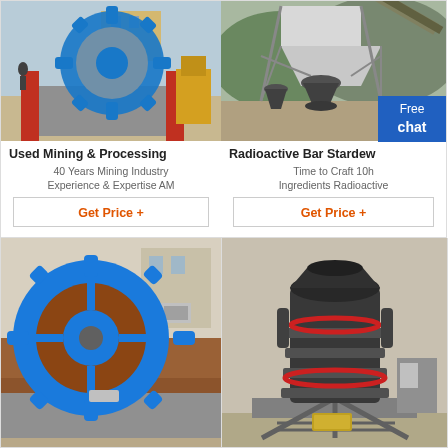[Figure (photo): Sand washing machine with large blue gear wheel, industrial equipment at outdoor facility]
Used Mining & Processing
40 Years Mining Industry Experience & Expertise AM
Get Price +
[Figure (photo): Radioactive bar industrial processing plant with cone crusher and steel structure, outdoor site]
Radioactive Bar Stardew
Time to Craft 10h Ingredients Radioactive
Get Price +
[Figure (photo): Sand washing machine with blue and brown gear wheel, industrial equipment close-up]
[Figure (photo): Cone crusher industrial machine, black heavy machinery on outdoor platform]